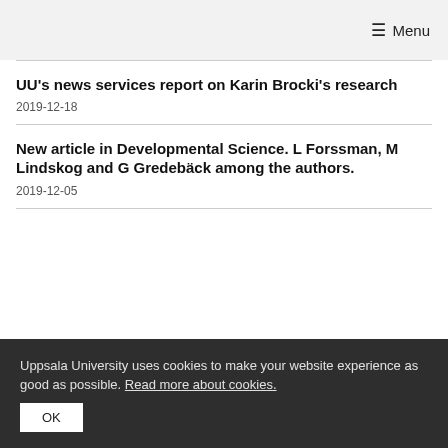≡ Menu
UU's news services report on Karin Brocki's research
2019-12-18
New article in Developmental Science. L Forssman, M Lindskog and G Gredebäck among the authors.
2019-12-05
Uppsala University uses cookies to make your website experience as good as possible. Read more about cookies. OK